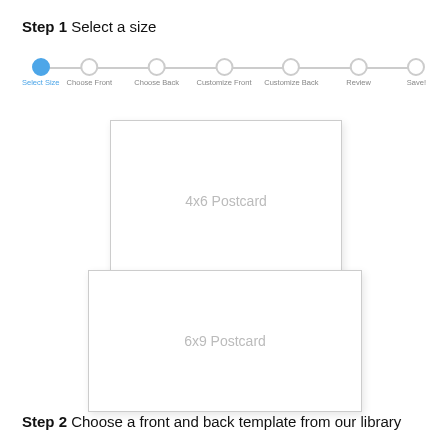Step 1 Select a size
[Figure (infographic): A horizontal progress bar with 7 steps: a filled blue circle labeled 'Select Size', then 6 empty circles labeled 'Choose Front', 'Choose Back', 'Customize Front', 'Customize Back', 'Review', 'Save!']
[Figure (illustration): A white rectangle with a light gray border and drop shadow, centered, labeled '4x6 Postcard' in gray text]
[Figure (illustration): A wider white rectangle with a light gray border and drop shadow, centered, labeled '6x9 Postcard' in gray text]
Step 2 Choose a front and back template from our library